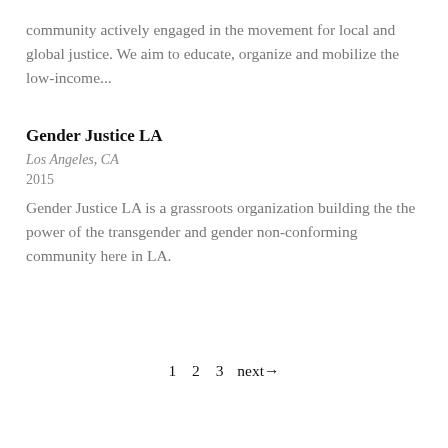community actively engaged in the movement for local and global justice. We aim to educate, organize and mobilize the low-income...
Gender Justice LA
Los Angeles, CA
2015
Gender Justice LA is a grassroots organization building the the power of the transgender and gender non-conforming community here in LA.
1  2  3  next →